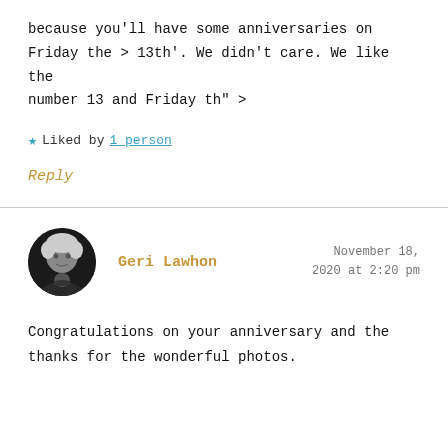because you'll have some anniversaries on Friday the > 13th'. We didn't care. We like the number 13 and Friday th" >
★ Liked by 1 person
Reply
[Figure (photo): Circular avatar photo of Geri Lawhon, a woman with short light hair, black and white photo]
Geri Lawhon
November 18, 2020 at 2:20 pm
Congratulations on your anniversary and the thanks for the wonderful photos.